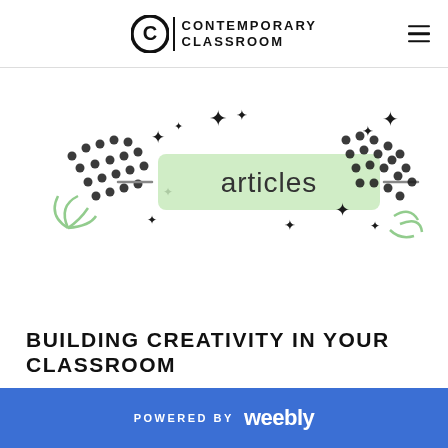Contemporary Classroom
[Figure (illustration): Decorative banner illustration with the word 'articles' in a green rounded rectangle, surrounded by sparkle stars and dotted confetti patterns in black and green.]
BUILDING CREATIVITY IN YOUR CLASSROOM
POWERED BY weebly